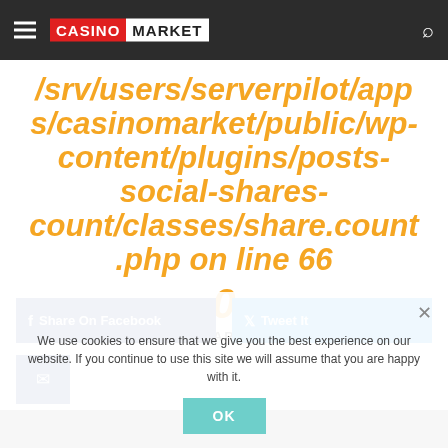CASINO MARKET
/srv/users/serverpilot/apps/casinomarket/public/wp-content/plugins/posts-social-shares-count/classes/share.count.php on line 66
0
SHARES
Share On Facebook
Tweet It
We use cookies to ensure that we give you the best experience on our website. If you continue to use this site we will assume that you are happy with it.
OK